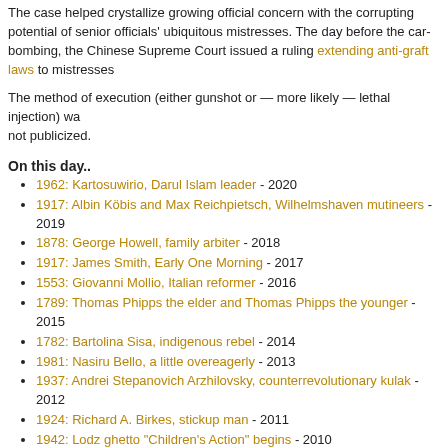The case helped crystallize growing official concern with the corrupting potential of senior officials' ubiquitous mistresses. The day before the car-bombing, the Chinese Supreme Court issued a ruling extending anti-graft laws to mistresses
The method of execution (either gunshot or — more likely — lethal injection) was not publicized.
On this day..
1962: Kartosuwirio, Darul Islam leader - 2020
1917: Albin Köbis and Max Reichpietsch, Wilhelmshaven mutineers - 2019
1878: George Howell, family arbiter - 2018
1917: James Smith, Early One Morning - 2017
1553: Giovanni Mollio, Italian reformer - 2016
1789: Thomas Phipps the elder and Thomas Phipps the younger - 2015
1782: Bartolina Sisa, indigenous rebel - 2014
1981: Nasiru Bello, a little overeagerly - 2013
1937: Andrei Stepanovich Arzhilovsky, counterrevolutionary kulak - 2012
1924: Richard A. Birkes, stickup man - 2011
1942: Lodz ghetto "Children's Action" begins - 2010
1930: Carl Panzram, rage personified - 2008
Possibly Related Executions:
2006: Yuan Baojing, gangster capitalist
2007: Zheng Xiaoyu, former Director of the State Food and Drug Administration
2005: Wang Binyu, desperate migrant laborer
2003: Liu Yong, for corruption
2002: 'Ali bin Hittan bin Sa'id, Muhammad bin Suleyman bin Muhammad and Muhammad bin Khalil bin 'Abdullah
2004: Mamoru Takuma, for the Osaka school massacre